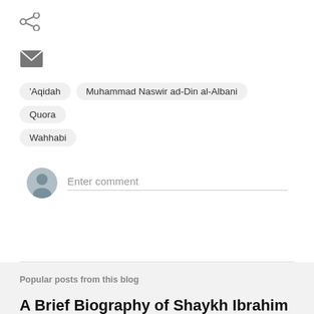[Figure (other): Share icon (three connected dots)]
[Figure (other): Email/envelope icon]
'Aqidah
Muhammad Naswir ad-Din al-Albani
Quora
Wahhabi
Enter comment
Popular posts from this blog
A Brief Biography of Shaykh Ibrahim ibn 'Abdullah Niyas al-Kawlakhi (q.s.)